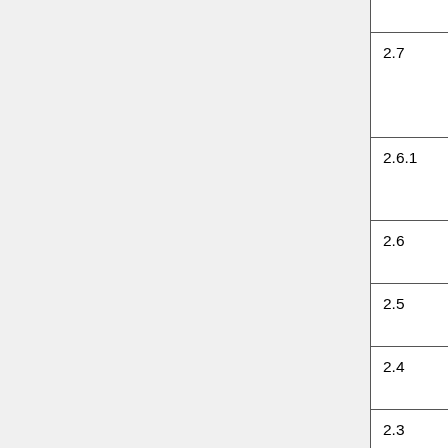| Version | Date | Description |
| --- | --- | --- |
|  |  | paragraphs. |
| 2.7 | 2015-08-09 | Fixed bugs preventing the display of some Strong's Numbers. |
| 2.6.1 | 2014-02-15 | Added GlobalOptionFilter for OSISLemma |
| 2.6 | 2013-10-05 | Fixed bugs. Added Greek from TR. |
| 2.5 | 2013-02-02 | Fixed bugs. |
| 2.4 | 2009-05-29 | Fixed bugs. |
| 2.3 | 2006-10-09 | Fixed bugs. |